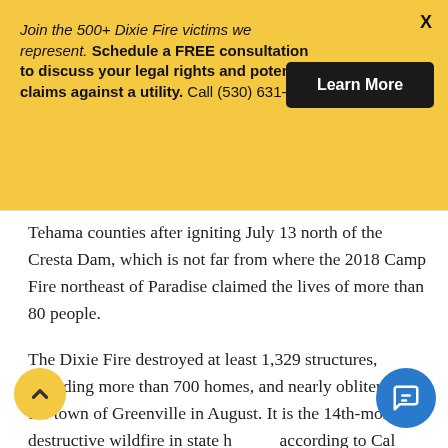Join the 500+ Dixie Fire victims we represent. Schedule a FREE consultation to discuss your legal rights and potential claims against a utility. Call (530) 631-3379
[Figure (other): Black 'Learn More' button on yellow banner background]
Tehama counties after igniting July 13 north of the Cresta Dam, which is not far from where the 2018 Camp Fire northeast of Paradise claimed the lives of more than 80 people.
The Dixie Fire destroyed at least 1,329 structures, including more than 700 homes, and nearly obliterated the town of Greenville in August. It is the 14th-most-destructive wildfire in state history, according to Cal Fire.